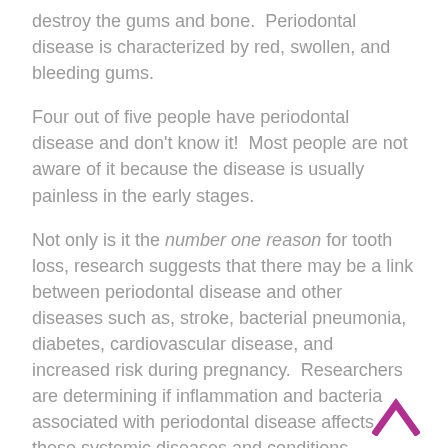destroy the gums and bone.  Periodontal disease is characterized by red, swollen, and bleeding gums.
Four out of five people have periodontal disease and don't know it!  Most people are not aware of it because the disease is usually painless in the early stages.
Not only is it the number one reason for tooth loss, research suggests that there may be a link between periodontal disease and other diseases such as, stroke, bacterial pneumonia, diabetes, cardiovascular disease, and increased risk during pregnancy.  Researchers are determining if inflammation and bacteria associated with periodontal disease affects these systemic diseases and conditions.  Smoking also increases the risk of periodontal disease.
[Figure (other): Purple/magenta upward-pointing chevron arrow icon]